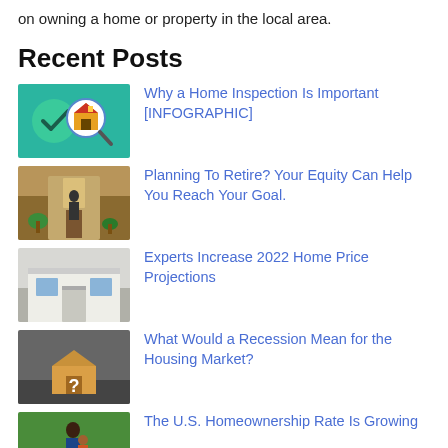on owning a home or property in the local area.
Recent Posts
[Figure (illustration): Infographic thumbnail: green circle with checkmark and magnifying glass over a house icon on teal background]
Why a Home Inspection Is Important [INFOGRAPHIC]
[Figure (photo): Photo of person standing in a hallway near a door with plants]
Planning To Retire? Your Equity Can Help You Reach Your Goal.
[Figure (photo): Photo of exterior of a white house with a door and windows]
Experts Increase 2022 Home Price Projections
[Figure (photo): Photo of a small wooden house model with a question mark on a grey background]
What Would a Recession Mean for the Housing Market?
[Figure (photo): Photo of a person holding a child outdoors]
The U.S. Homeownership Rate Is Growing
Archives